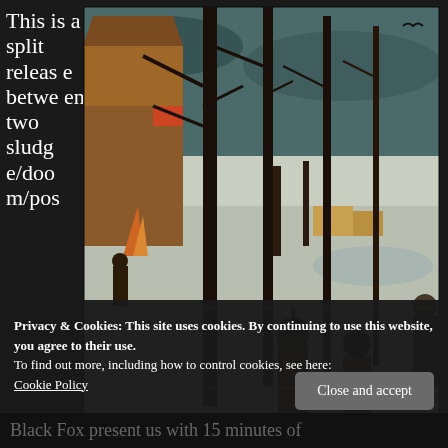This is a split release between two sludge/doom/pos
[Figure (photo): A classical painting depicting hunters returning through snow with hounds, reminiscent of Bruegel's 'Hunters in the Snow'. Dark trees in foreground, snowy landscape with buildings and figures in background.]
Privacy & Cookies: This site uses cookies. By continuing to use this website, you agree to their use.
To find out more, including how to control cookies, see here:
Cookie Policy
Close and accept
Black Fox present us with 15 minutes of